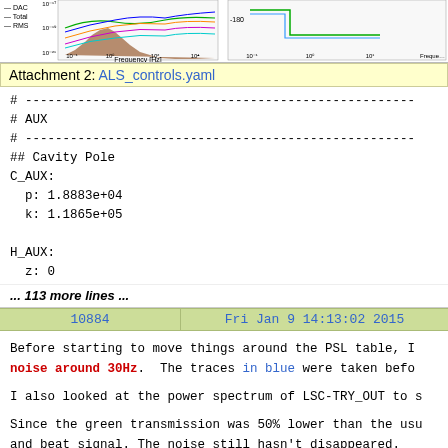[Figure (continuous-plot): Frequency spectrum plot (left) showing DAC, Total, RMS traces from ~10^-1 to 10^4 Hz with brown/colored curves, partially cropped at top]
[Figure (continuous-plot): Phase/frequency plot (right) showing response curves from 10^-1 to 10^1 Hz, partially cropped at top]
Attachment 2: ALS_controls.yaml
# ---
# AUX
# ---
## Cavity Pole
C_AUX:
  p: 1.8883e+04
  k: 1.1865e+05

H_AUX:
  z: 0
... 113 more lines ...
10884    Fri Jan 9 14:13:02 2015
Before starting to move things around the PSL table, I noise around 30Hz. The traces in blue were taken befo

I also looked at the power spectrum of LSC-TRY_OUT to s

Since the green transmission was 50% lower than the usu and beat signal. The noise still hasn't disappeared.

I am not sure if this could be from our neigbors who ha disappears once they shut down.